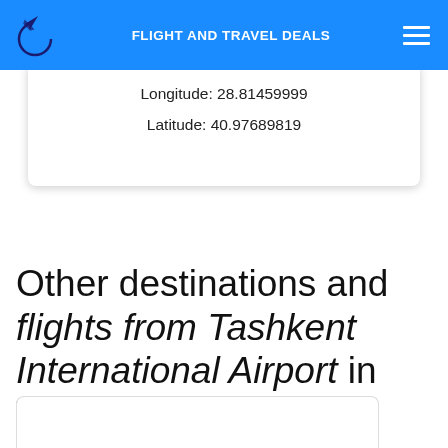FLIGHT AND TRAVEL DEALS
Longitude: 28.81459999
Latitude: 40.97689819
Other destinations and flights from Tashkent International Airport in Tashkent, Uzbekistan